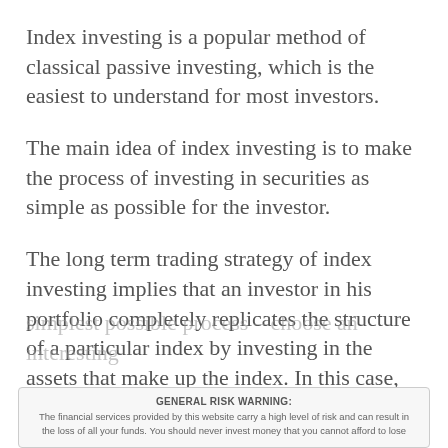Index investing is a popular method of classical passive investing, which is the easiest to understand for most investors.
The main idea of index investing is to make the process of investing in securities as simple as possible for the investor.
The long term trading strategy of index investing implies that an investor in his portfolio completely replicates the structure of a particular index by investing in the assets that make up the index. In this case, an investor automatically has no need to select and select shares, allocate them by shares and form an investment portfolio. The task is reduced to the
simplest possible process – choose an interesting
GENERAL RISK WARNING:
The financial services provided by this website carry a high level of risk and can result in the loss of all your funds. You should never invest money that you cannot afford to lose